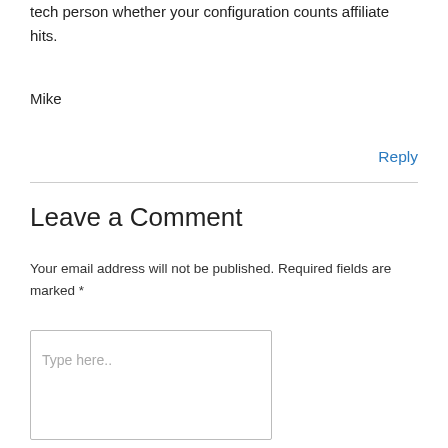tech person whether your configuration counts affiliate hits.
Mike
Reply
Leave a Comment
Your email address will not be published. Required fields are marked *
Type here..